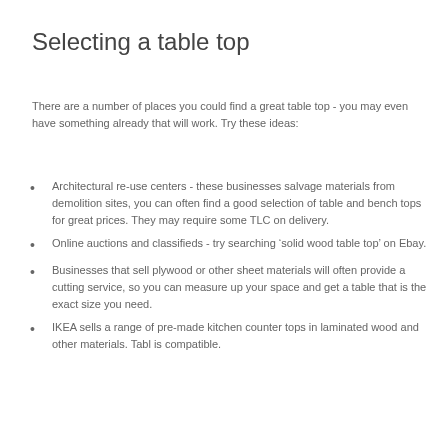Selecting a table top
There are a number of places you could find a great table top - you may even have something already that will work. Try these ideas:
Architectural re-use centers - these businesses salvage materials from demolition sites, you can often find a good selection of table and bench tops for great prices. They may require some TLC on delivery.
Online auctions and classifieds - try searching ‘solid wood table top’ on Ebay.
Businesses that sell plywood or other sheet materials will often provide a cutting service, so you can measure up your space and get a table that is the exact size you need.
IKEA sells a range of pre-made kitchen counter tops in laminated wood and other materials. Tabl is compatible.